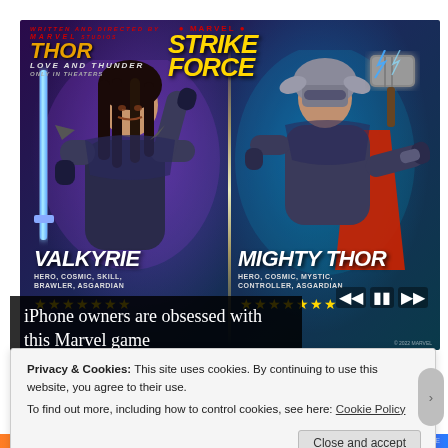[Figure (screenshot): Marvel Strike Force mobile game advertisement featuring two characters: Valkyrie (Hero, Cosmic, Skill, Brawler, Asgardian) on the left with a glowing blue sword and Mighty Thor (Hero, Cosmic, Mystic, Controller, Asgardian) on the right holding a hammer with lightning. Both have 7-star ratings. Thor: Love and Thunder movie tie-in. Marvel Strike Force logo at top. Playback controls visible on right side.]
iPhone owners are obsessed with this Marvel game
Privacy & Cookies: This site uses cookies. By continuing to use this website, you agree to their use.
To find out more, including how to control cookies, see here: Cookie Policy